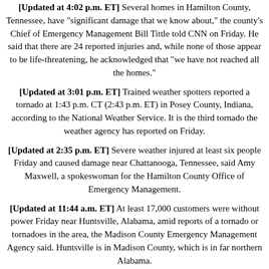[Updated at 4:02 p.m. ET] Several homes in Hamilton County, Tennessee, have "significant damage that we know about," the county's Chief of Emergency Management Bill Tittle told CNN on Friday. He said that there are 24 reported injuries and, while none of those appear to be life-threatening, he acknowledged that "we have not reached all the homes."
[Updated at 3:01 p.m. ET] Trained weather spotters reported a tornado at 1:43 p.m. CT (2:43 p.m. ET) in Posey County, Indiana, according to the National Weather Service. It is the third tornado the weather agency has reported on Friday.
[Updated at 2:35 p.m. ET] Severe weather injured at least six people Friday and caused damage near Chattanooga, Tennessee, said Amy Maxwell, a spokeswoman for the Hamilton County Office of Emergency Management.
[Updated at 11:44 a.m. ET] At least 17,000 customers were without power Friday near Huntsville, Alabama, amid reports of a tornado or tornadoes in the area, the Madison County Emergency Management Agency said. Huntsville is in Madison County, which is in far northern Alabama.
[Updated at 11:26 a.m. ET] The National Weather Service issued a tornado emergency for Madison County, Alabama, on Friday morning after saying a large and extremely dangerous tornado